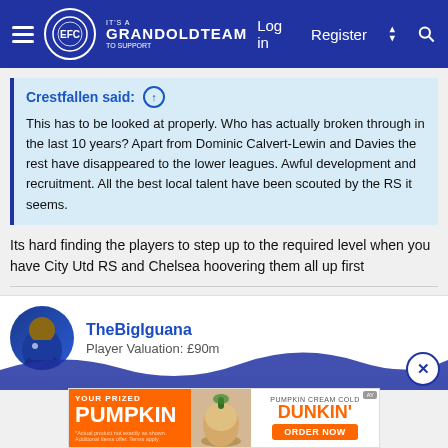[Figure (screenshot): GrandOldTeam forum navigation bar with logo, Log in, Register, lightning and search icons on blue background]
Crestfallen said: ↑
This has to be looked at properly. Who has actually broken through in the last 10 years? Apart from Dominic Calvert-Lewin and Davies the rest have disappeared to the lower leagues. Awful development and recruitment. All the best local talent have been scouted by the RS it seems.
Its hard finding the players to step up to the required level when you have City Utd RS and Chelsea hoovering them all up first
TheBigIguana
Player Valuation: £90m
[Figure (photo): TheBigIguana user avatar showing a football player in blue Everton kit]
[Figure (advertisement): Dunkin Donuts Pumpkin Cream Cold Brew advertisement with orange background]